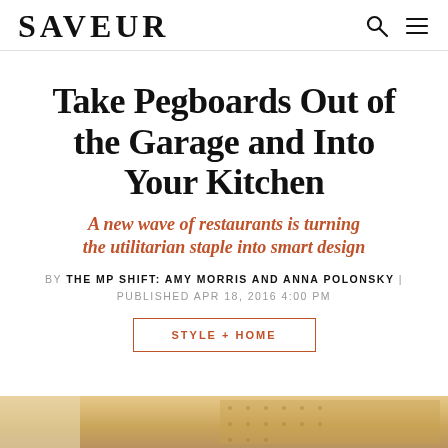SAVEUR
Take Pegboards Out of the Garage and Into Your Kitchen
A new wave of restaurants is turning the utilitarian staple into smart design
BY THE MP SHIFT: AMY MORRIS AND ANNA POLONSKY |
PUBLISHED APR 18, 2016 4:00 PM
STYLE + HOME
[Figure (photo): Bottom portion of a decorative image showing warm tan/brown tones, partially cut off at page bottom]